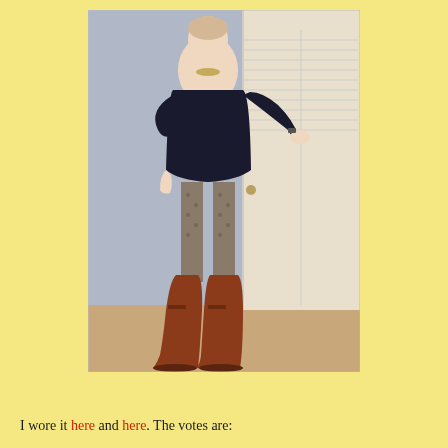[Figure (photo): A woman wearing a black short-sleeved dress, patterned tights, and knee-high brown/rust-colored riding boots, standing in front of a white closet door. She has one hand on her hip and the other extended outward. She is wearing a gold necklace.]
I wore it here and here. The votes are: